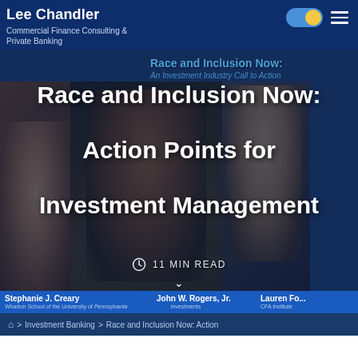Lee Chandler
Commercial Finance Consulting & Private Banking
[Figure (screenshot): Website screenshot showing a video panel with speakers for 'Race and Inclusion Now' webinar: Stephanie J. Creary (Wharton School of the University of Pennsylvania), John W. Rogers Jr., Lauren Fo... (CFA Institute)]
Race and Inclusion Now: Action Points for Investment Management
11 MIN READ
Home > Investment Banking > Race and Inclusion Now: Action
Stephanie J. Creary
Wharton School of the University of Pennsylvania
John W. Rogers, Jr.
Lauren Fo...
CFA Institute